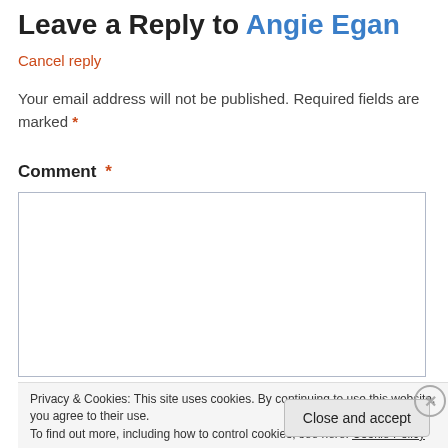Leave a Reply to Angie Egan
Cancel reply
Your email address will not be published. Required fields are marked *
Comment *
[Figure (other): Empty comment text area input box with border]
Privacy & Cookies: This site uses cookies. By continuing to use this website, you agree to their use.
To find out more, including how to control cookies, see here: Cookie Policy
Close and accept